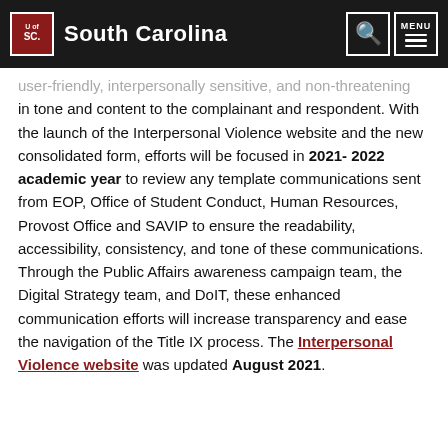University of South Carolina
user-friendly, interpersonally sensitive, and non-threatening in tone and content to the complainant and respondent. With the launch of the Interpersonal Violence website and the new consolidated form, efforts will be focused in 2021-2022 academic year to review any template communications sent from EOP, Office of Student Conduct, Human Resources, Provost Office and SAVIP to ensure the readability, accessibility, consistency, and tone of these communications. Through the Public Affairs awareness campaign team, the Digital Strategy team, and DoIT, these enhanced communication efforts will increase transparency and ease the navigation of the Title IX process. The Interpersonal Violence website was updated August 2021.